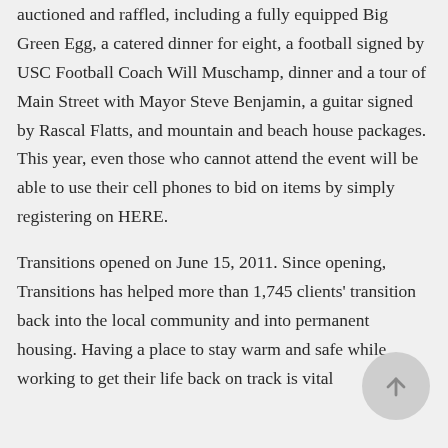There is an impressive list of items to be auctioned and raffled, including a fully equipped Big Green Egg, a catered dinner for eight, a football signed by USC Football Coach Will Muschamp, dinner and a tour of Main Street with Mayor Steve Benjamin, a guitar signed by Rascal Flatts, and mountain and beach house packages. This year, even those who cannot attend the event will be able to use their cell phones to bid on items by simply registering on HERE.
Transitions opened on June 15, 2011. Since opening, Transitions has helped more than 1,745 clients' transition back into the local community and into permanent housing. Having a place to stay warm and safe while working to get their life back on track is vital
[Figure (other): Circular scroll-to-top button with an upward arrow icon]